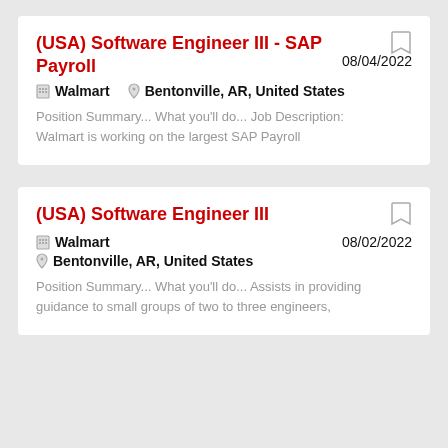(USA) Software Engineer III - SAP Payroll
08/04/2022
Walmart   Bentonville, AR, United States
Position Summary... What you'll do... Job Description: Walmart is working on the largest SAP Payroll
(USA) Software Engineer III
08/02/2022
Walmart   Bentonville, AR, United States
Position Summary... What you'll do... Assists in providing guidance to small groups of two to three engineers,